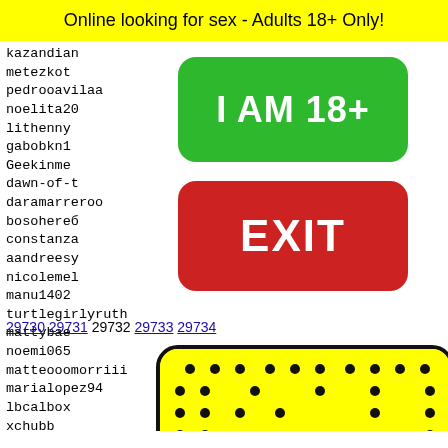Online looking for sex - Adults 18+ Only!
kazandian
metezkot
pedrooavilaa
noelita208
lithenny
gabobkn12
Geekinme
dawn-of-t
daramarreroo
bosohereб
constanza
aandreesy
nicolemel
manu1402
turtlegirlyruth
mattybae
noemi065
matteooomorriii
marialopez94
lbcalbox
xchubb
diabli
emmipi
antono
liangd
andjel
[Figure (other): Green button with text 'I AM 18+']
[Figure (other): Red button with text 'EXIT']
29730 29731 29732 29733 29734
[Figure (illustration): Yellow rounded rectangle with black dots pattern resembling a snapchat-style emoji or sticker, with a decorative element at bottom]